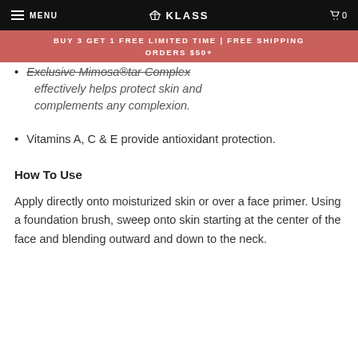MENU | KLASS | 0
BUY 3 GET 1 FREE LIMITED TIME | FREE SHIPPING ORDERS $50+
Exclusive Mimosa®tar Complex effectively helps protect skin and complements any complexion.
Vitamins A, C & E provide antioxidant protection.
How To Use
Apply directly onto moisturized skin or over a face primer. Using a foundation brush, sweep onto skin starting at the center of the face and blending outward and down to the neck.